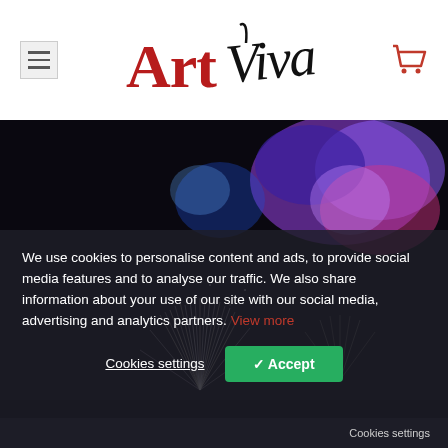[Figure (logo): ArtViva logo with stylized red 'Art' text and black handwritten 'Viva' script]
[Figure (photo): Dark night photo of colorful fireworks with purple and pink smoke clouds against a black background]
We use cookies to personalise content and ads, to provide social media features and to analyse our traffic. We also share information about your use of our site with our social media, advertising and analytics partners. View more
Cookies settings
✓ Accept
Cookies settings